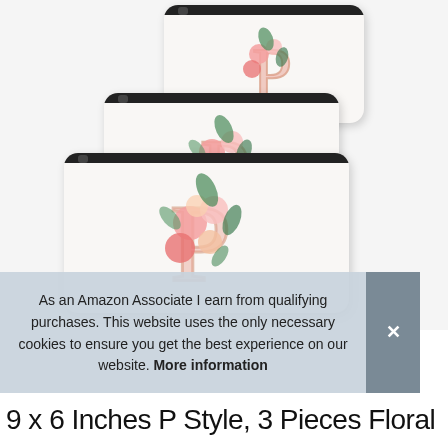[Figure (photo): Three white cosmetic/makeup bags stacked and overlapping each other. Each bag has a black zipper at the top and features a floral initial 'P' design — a rose-gold watercolor letter P decorated with pink peonies and green foliage. The bags are arranged from smallest (top-right) to largest (bottom-left).]
As an Amazon Associate I earn from qualifying purchases. This website uses the only necessary cookies to ensure you get the best experience on our website. More information
9 x 6 Inches P Style, 3 Pieces Floral